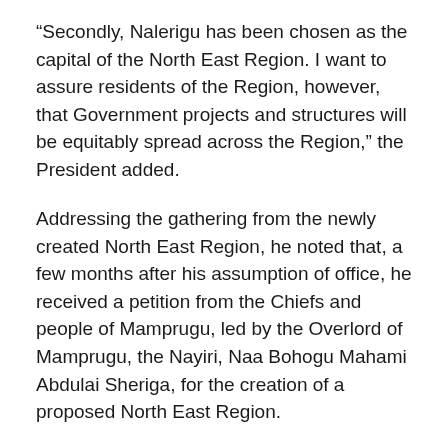“Secondly, Nalerigu has been chosen as the capital of the North East Region. I want to assure residents of the Region, however, that Government projects and structures will be equitably spread across the Region,” the President added.
Addressing the gathering from the newly created North East Region, he noted that, a few months after his assumption of office, he received a petition from the Chiefs and people of Mamprugu, led by the Overlord of Mamprugu, the Nayiri, Naa Bohogu Mahami Abdulai Sheriga, for the creation of a proposed North East Region.
Pursuant to the dictates of the Constitution of the Republic, in article 5(2)(a), the referred this petition to the Council of State for its advice on 26th June, 2017, and, on 15th August, 2017, the Council advised that a Commission of Inquiry be established to determine whether or not there was a need and substantial ground for the creation of the North East Region.